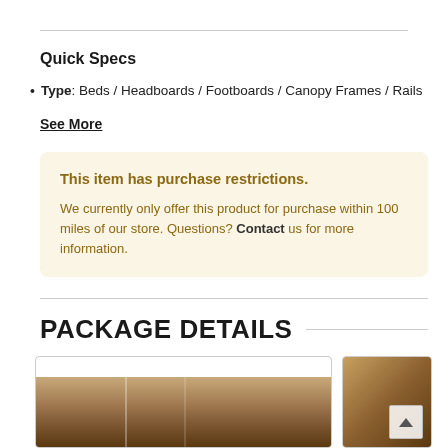Quick Specs
Type: Beds / Headboards / Footboards / Canopy Frames / Rails
See More
This item has purchase restrictions.
We currently only offer this product for purchase within 100 miles of our store. Questions? Contact us for more information.
PACKAGE DETAILS
[Figure (photo): Interior bedroom photo showing furniture]
[Figure (photo): Partial furniture photo]